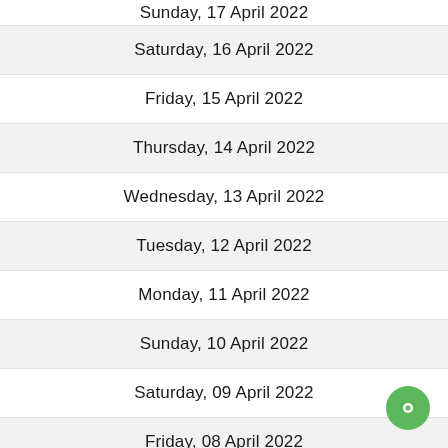Sunday, 17 April 2022
Saturday, 16 April 2022
Friday, 15 April 2022
Thursday, 14 April 2022
Wednesday, 13 April 2022
Tuesday, 12 April 2022
Monday, 11 April 2022
Sunday, 10 April 2022
Saturday, 09 April 2022
Friday, 08 April 2022
Thursday, 07 April 2022